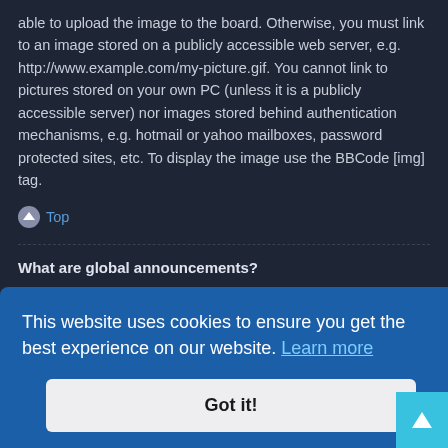able to upload the image to the board. Otherwise, you must link to an image stored on a publicly accessible web server, e.g. http://www.example.com/my-picture.gif. You cannot link to pictures stored on your own PC (unless it is a publicly accessible server) nor images stored behind authentication mechanisms, e.g. hotmail or yahoo mailboxes, password protected sites, etc. To display the image use the BBCode [img] tag.
Top
What are global announcements?
Global announcements contain important information and you should read them whenever possible. They will appear at the top of every forum and within your User
for the forum you are currently reading and you should
[Figure (screenshot): Cookie consent banner overlay with text 'This website uses cookies to ensure you get the best experience on our website. Learn more' and a 'Got it!' button. A cyan scroll-to-top button appears in the bottom right corner.]